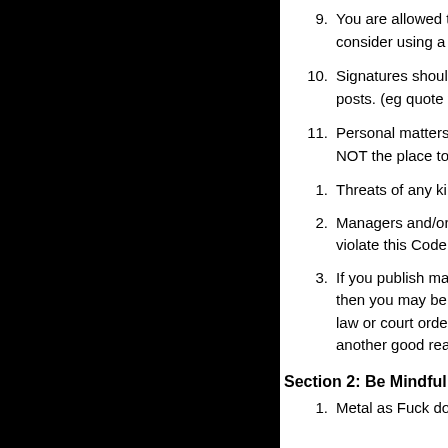9. You are allowed to use images in your posts, but if the images are very large consider using a URL inst... discretion.
10. Signatures should not be more than 6 (six) lines... not be bigger than your posts. (eg quote the son...
11. Personal matters between yourself and another... and them. Metal as Fuck is NOT the place to air...
1. Threats of any kind (either implied or explicit) wil... your forum rights.
2. Managers and/or Moderators who manage the C... edit or remove posts that violate this Code of Co...
3. If you publish material which defames another pe... the incitement of hatred, then you may be held li... protected by Metal as Fuck's privacy policy, you... law or court order, to disclose certain information... think you are, which is another good reason to fo...
Section 2: Be Mindful of the Law - and Stay Within i...
1. Metal as Fuck does not allow any illegal activitio...